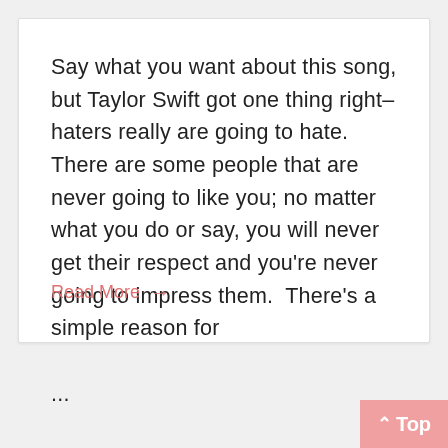Say what you want about this song, but Taylor Swift got one thing right–haters really are going to hate.  There are some people that are never going to like you; no matter what you do or say, you will never get their respect and you're never going to impress them.  There's a simple reason for
...
Read More →